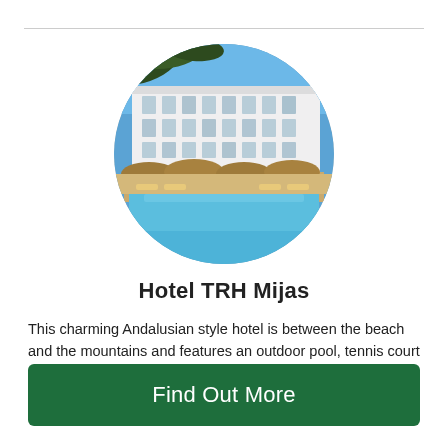[Figure (photo): Circular cropped photo of Hotel TRH Mijas showing a white Andalusian-style hotel building with thatched parasols, loungers, and a blue swimming pool in the foreground.]
Hotel TRH Mijas
This charming Andalusian style hotel is between the beach and the mountains and features an outdoor pool, tennis court and sauna. Each room has a mountain, sea or pool view.
Find Out More